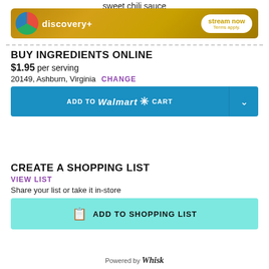sweet chili sauce
[Figure (other): Discovery+ advertisement banner with colorful logo, 'discovery+' text, 'stream now' button, and 'Terms apply.' text on gold background]
BUY INGREDIENTS ONLINE
$1.95 per serving
20149, Ashburn, Virginia  CHANGE
[Figure (other): ADD TO Walmart CART button in blue with dropdown arrow]
CREATE A SHOPPING LIST
VIEW LIST
Share your list or take it in-store
[Figure (other): ADD TO SHOPPING LIST button in teal/cyan with shopping list icon]
Powered by Whisk